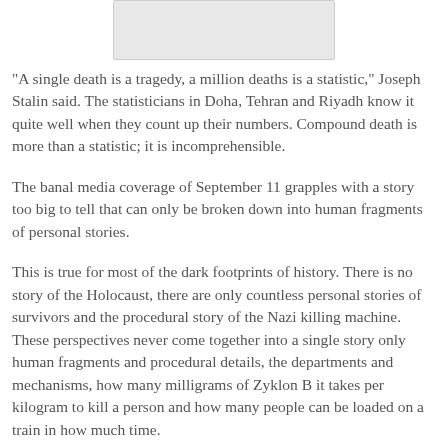[Figure (other): Rectangular image placeholder at top center of page]
"A single death is a tragedy, a million deaths is a statistic," Joseph Stalin said. The statisticians in Doha, Tehran and Riyadh know it quite well when they count up their numbers. Compound death is more than a statistic; it is incomprehensible.
The banal media coverage of September 11 grapples with a story too big to tell that can only be broken down into human fragments of personal stories.
This is true for most of the dark footprints of history. There is no story of the Holocaust, there are only countless personal stories of survivors and the procedural story of the Nazi killing machine. These perspectives never come together into a single story only human fragments and procedural details, the departments and mechanisms, how many milligrams of Zyklon B it takes per kilogram to kill a person and how many people can be loaded on a train in how much time.